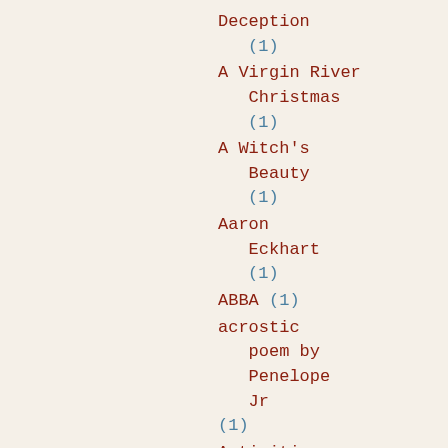Deception (1)
A Virgin River Christmas (1)
A Witch's Beauty (1)
Aaron Eckhart (1)
ABBA (1)
acrostic poem by Penelope Jr (1)
Activities (1)